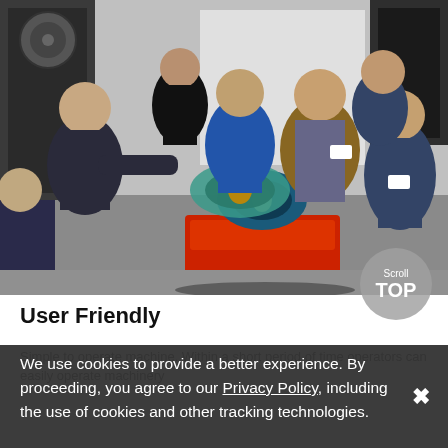[Figure (photo): Group of workers/technicians in a workshop setting. One person holds a large blue/black roll of material near a red machine/cart, while several other workers stand around observing in a training or demonstration context.]
User Friendly
Simple to operate machine. Within a short period of time operators can easily operate machinery
We use cookies to provide a better experience. By proceeding, you agree to our Privacy Policy, including the use of cookies and other tracking technologies.